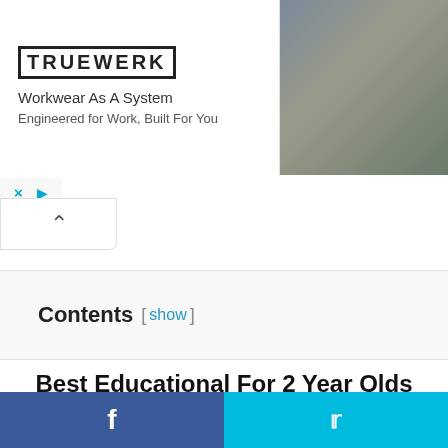[Figure (infographic): Advertisement banner for TRUEWERK workwear. Left side shows TRUEWERK logo with ad text 'Workwear As A System' and 'Engineered for Work, Built For You'. Right side shows a photo of a person in workwear crouching outdoors.]
× ▷
^
Contents [ show ]
Best Educational For 2 Year Olds Books
Looking for a book to read in 2021? Explore this list